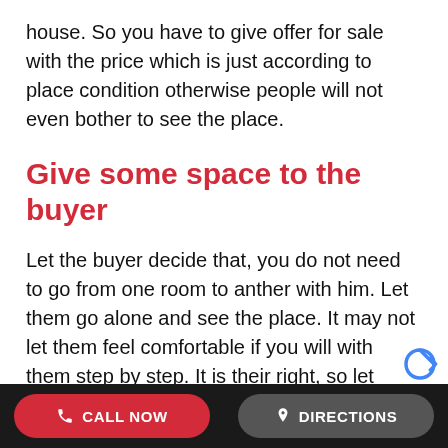house. So you have to give offer for sale with the price which is just according to place condition otherwise people will not even bother to see the place.
Give some space to the buyer
Let the buyer decide that, you do not need to go from one room to anther with him. Let them go alone and see the place. It may not let them feel comfortable if you will with them step by step. It is their right, so let them do it by themselves otherwise it may cause you lose the customer.
CALL NOW   DIRECTIONS